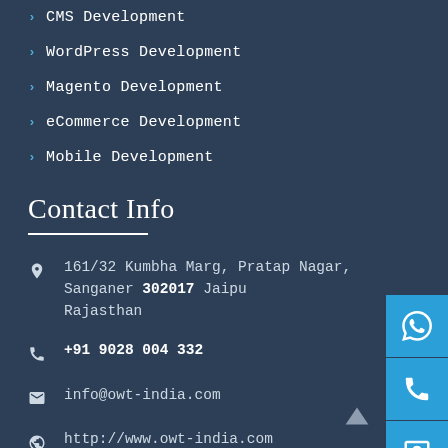CMS Development
WordPress Development
Magento Development
eCommerce Development
Mobile Development
Contact Info
161/32 Kumbha Marg, Pratap Nagar, Sanganer 302017 Jaipur, Rajasthan
+91 9028 004 332
info@owt-india.com
http://www.owt-india.com